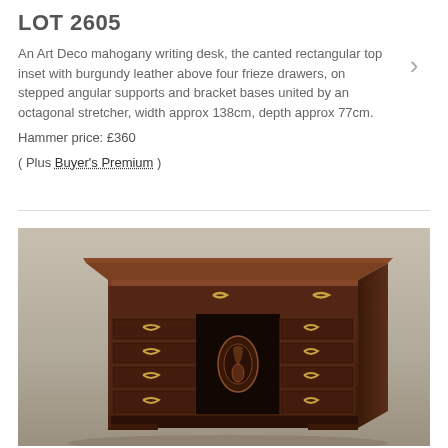LOT 2605
An Art Deco mahogany writing desk, the canted rectangular top inset with burgundy leather above four frieze drawers, on stepped angular supports and bracket bases united by an octagonal stretcher, width approx 138cm, depth approx 77cm.
Hammer price: £360
( Plus Buyer's Premium )
[Figure (photo): Photograph of an ornate mahogany writing desk with brass drawer handles, decorative carved panels, and a central kneehole, viewed from a three-quarter angle against a beige/grey background.]